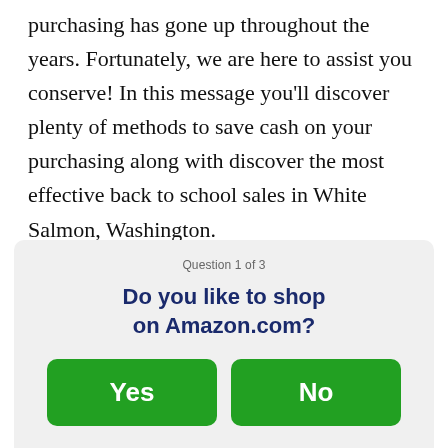purchasing has gone up throughout the years. Fortunately, we are here to assist you conserve! In this message you'll discover plenty of methods to save cash on your purchasing along with discover the most effective back to school sales in White Salmon, Washington.
Question 1 of 3
Do you like to shop on Amazon.com?
Yes
No